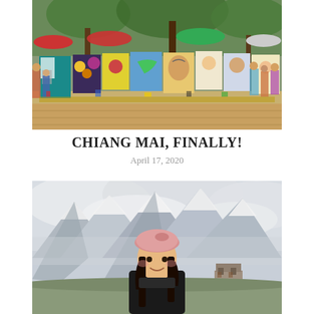[Figure (photo): Outdoor art market with colorful paintings on display including owls, Einstein, anime-style girl, and world map art; crowds of people browsing stalls under trees with umbrellas]
CHIANG MAI, FINALLY!
April 17, 2020
[Figure (photo): A young woman wearing a pink beret smiling in front of a dramatic mountain landscape with snow-capped peaks and clouds; a building visible in the background]